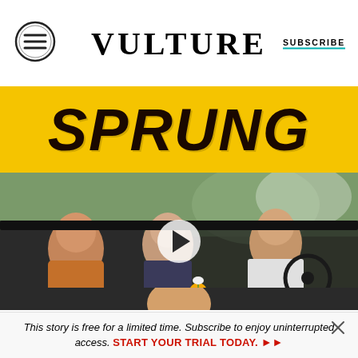VULTURE
[Figure (screenshot): Vulture website screenshot showing the TV show 'Sprung' with a yellow banner title and a video thumbnail of three people in a car, with a play button overlay. Below is a subscription prompt.]
This story is free for a limited time. Subscribe to enjoy uninterrupted access. START YOUR TRIAL TODAY.